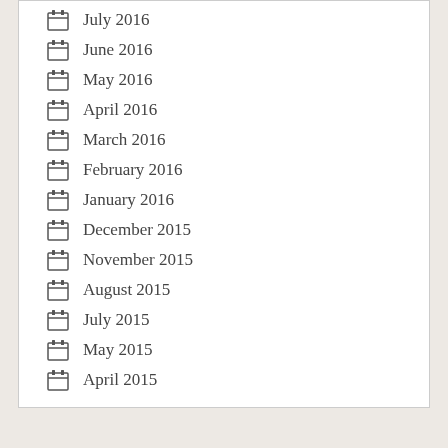July 2016
June 2016
May 2016
April 2016
March 2016
February 2016
January 2016
December 2015
November 2015
August 2015
July 2015
May 2015
April 2015